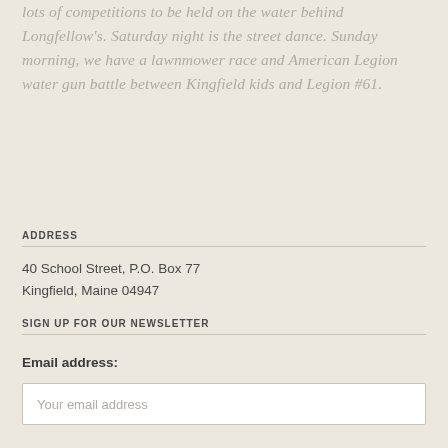lots of competitions to be held on the water behind Longfellow's. Saturday night is the street dance. Sunday morning, we have a lawnmower race and American Legion water gun battle between Kingfield kids and Legion #61.
ADDRESS
40 School Street, P.O. Box 77
Kingfield, Maine 04947
SIGN UP FOR OUR NEWSLETTER
Email address:
Your email address